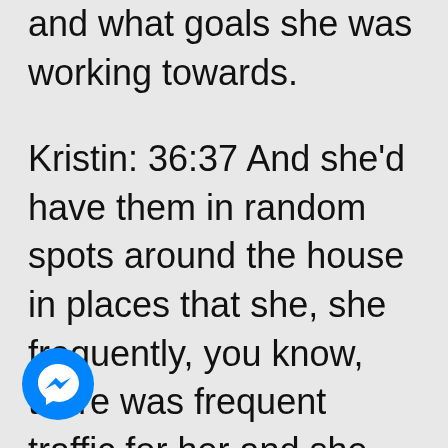and what goals she was working towards.
Kristin: 36:37 And she'd have them in random spots around the house in places that she, she frequently, you know, there was frequent traffic for her and she was able to reinforce those beliefs that she has about herself. So I strongly believe
[Figure (logo): Facebook Messenger icon — blue circle with white lightning bolt chat bubble]